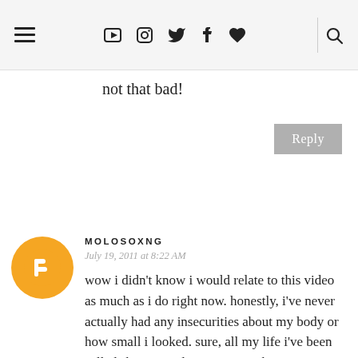≡ ▶ 📷 🐦 f ♥ 🔍
not that bad!
Reply
[Figure (illustration): Orange circular Blogger avatar icon with white B logo]
MOLOSOXNG
July 19, 2011 at 8:22 AM
wow i didn't know i would relate to this video as much as i do right now. honestly, i've never actually had any insecurities about my body or how small i looked. sure, all my life i've been called short, a midget, anorexic, bony,